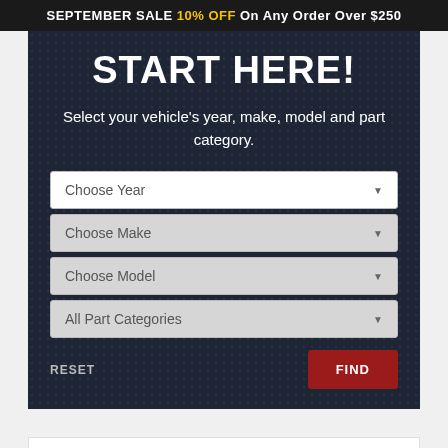SEPTEMBER SALE 10% OFF On Any Order Over $250
START HERE!
Select your vehicle’s year, make, model and part category.
[Figure (screenshot): Dropdown selector form with Choose Year, Choose Make, Choose Model, All Part Categories dropdowns, plus RESET and FIND buttons]
[Figure (other): Partially visible white content box at the bottom of the page]